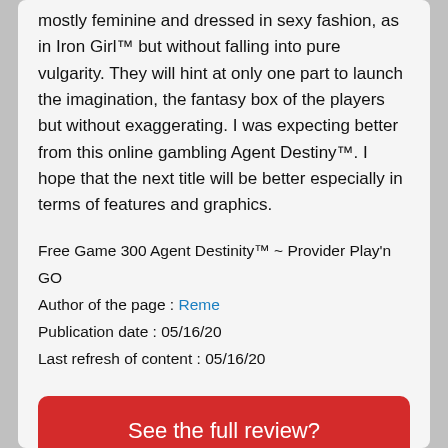mostly feminine and dressed in sexy fashion, as in Iron Girl™ but without falling into pure vulgarity. They will hint at only one part to launch the imagination, the fantasy box of the players but without exaggerating. I was expecting better from this online gambling Agent Destiny™. I hope that the next title will be better especially in terms of features and graphics.
Free Game 300 Agent Destinity™ ~ Provider Play'n GO
Author of the page : Reme
Publication date : 05/16/20
Last refresh of content : 05/16/20
See the full review?